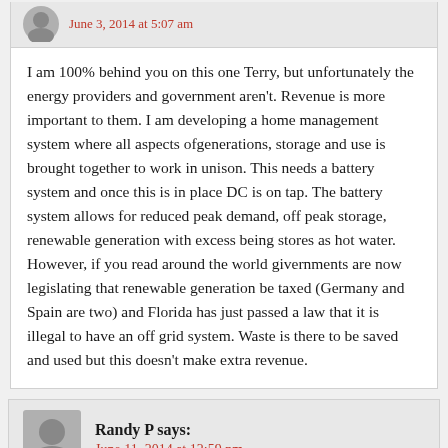June 3, 2014 at 5:07 am
I am 100% behind you on this one Terry, but unfortunately the energy providers and government aren't. Revenue is more important to them. I am developing a home management system where all aspects ofgenerations, storage and use is brought together to work in unison. This needs a battery system and once this is in place DC is on tap. The battery system allows for reduced peak demand, off peak storage, renewable generation with excess being stores as hot water. However, if you read around the world givernments are now legislating that renewable generation be taxed (Germany and Spain are two) and Florida has just passed a law that it is illegal to have an off grid system. Waste is there to be saved and used but this doesn't make extra revenue.
Randy P says:
June 11, 2014 at 12:59 pm
I enjoyed reading the information about micro grids. I have